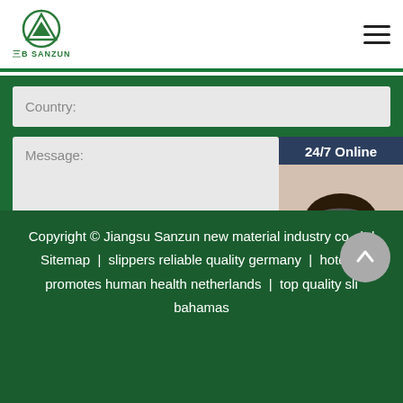Sanzun logo and navigation menu
Country:
Message:
[Figure (photo): Customer service agent wearing headset, smiling, with '24/7 Online' label and 'Click here for free chat!' call to action and QUOTATION button]
Submit Now
Copyright © Jiangsu Sanzun new material industry co., ltd
Sitemap | slippers reliable quality germany | hotel slippers promotes human health netherlands | top quality slippers bahamas